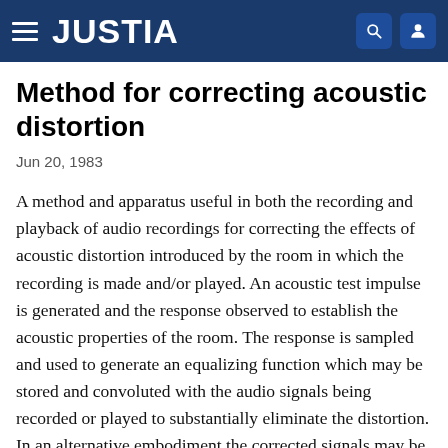JUSTIA
Method for correcting acoustic distortion
Jun 20, 1983
A method and apparatus useful in both the recording and playback of audio recordings for correcting the effects of acoustic distortion introduced by the room in which the recording is made and/or played. An acoustic test impulse is generated and the response observed to establish the acoustic properties of the room. The response is sampled and used to generate an equalizing function which may be stored and convoluted with the audio signals being recorded or played to substantially eliminate the distortion. In an alternative embodiment the corrected signals may be further convoluted with a function representing the acoustic properties of a